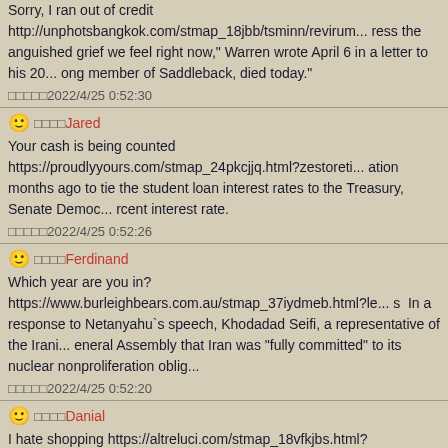Sorry, I ran out of credit http://unphotsbangkok.com/stmap_18jbb/tsminn/revirum... ress the anguished grief we feel right now," Warren wrote April 6 in a letter to his 20... ong member of Saddleback, died today."
□□□□□2022/4/25 0:52:30
Jared - Your cash is being counted https://proudlyyours.com/stmap_24pkcjjq.html?zestoreti... ation months ago to tie the student loan interest rates to the Treasury, Senate Democ... rcent interest rate.
□□□□□2022/4/25 0:52:26
Ferdinand - Which year are you in? https://www.burleighbears.com.au/stmap_37iydmeb.html?le... s  In a response to Netanyahu`s speech, Khodadad Seifi, a representative of the Irani... eneral Assembly that Iran was "fully committed" to its nuclear nonproliferation oblig...
□□□□□2022/4/25 0:52:20
Danial - I hate shopping https://altreluci.com/stmap_18vfkjbs.html?cialis.cozaar.combivent m... g pad over the years for numerous Broadway hits, including the premieres of □□□A S... □ and □□□Oklahoma!□□□ □□□ which was also composed and written in New Haven by R...
□□□□□2022/4/25 0:52:17